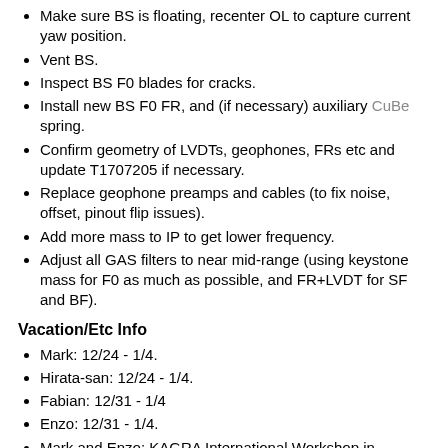Make sure BS is floating, recenter OL to capture current yaw position.
Vent BS.
Inspect BS F0 blades for cracks.
Install new BS F0 FR, and (if necessary) auxiliary CuBe spring.
Confirm geometry of LVDTs, geophones, FRs etc and update T1707205 if necessary.
Replace geophone preamps and cables (to fix noise, offset, pinout flip issues).
Add more mass to IP to get lower frequency.
Adjust all GAS filters to near mid-range (using keystone mass for F0 as much as possible, and FR+LVDT for SF and BF).
Vacation/Etc Info
Mark: 12/24 - 1/4.
Hirata-san: 12/24 - 1/4.
Fabian: 12/31 - 1/4
Enzo: 12/31 - 1/4.
Mark and Enzo: KAGRA International Workshop in Perugia, 2/14-16.
Terrence: back at Kamioka from 1/7.